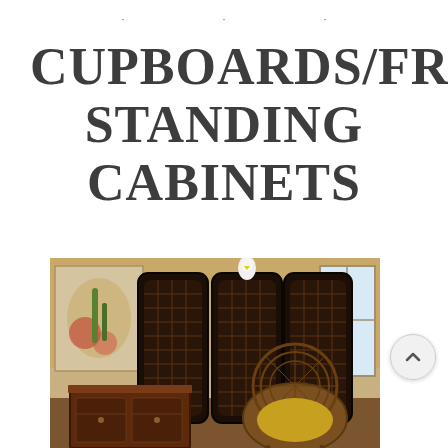· · ·
CUPBOARDS/FREE STANDING CABINETS
[Figure (photo): Interior room scene showing a dark ornate carved wooden room divider/screen with lattice pattern, a white parrot perched on top, a dark wooden cabinet/sideboard with drawers on the left, a wicker peacock chair with yellow cushion on the right, decorative plants, wall artwork with floral/botanical motif, and a bright window in the background.]